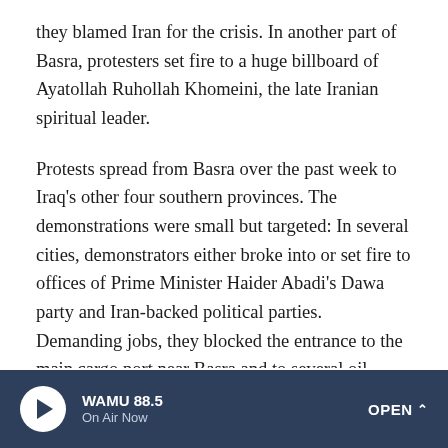they blamed Iran for the crisis. In another part of Basra, protesters set fire to a huge billboard of Ayatollah Ruhollah Khomeini, the late Iranian spiritual leader.
Protests spread from Basra over the past week to Iraq's other four southern provinces. The demonstrations were small but targeted: In several cities, demonstrators either broke into or set fire to offices of Prime Minister Haider Abadi's Dawa party and Iran-backed political parties. Demanding jobs, they blocked the entrance to the main cargo port near Basra and to several oil fields.
International oil companies relocated some of their employees earlier in the week, flying them out by helicopter
WAMU 88.5 On Air Now OPEN ^